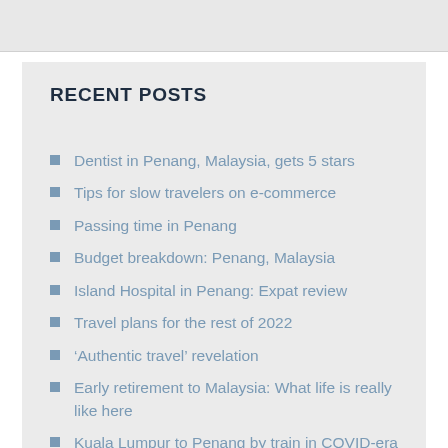RECENT POSTS
Dentist in Penang, Malaysia, gets 5 stars
Tips for slow travelers on e-commerce
Passing time in Penang
Budget breakdown: Penang, Malaysia
Island Hospital in Penang: Expat review
Travel plans for the rest of 2022
‘Authentic travel’ revelation
Early retirement to Malaysia: What life is really like here
Kuala Lumpur to Penang by train in COVID-era
Travel without medical insurance: Cost